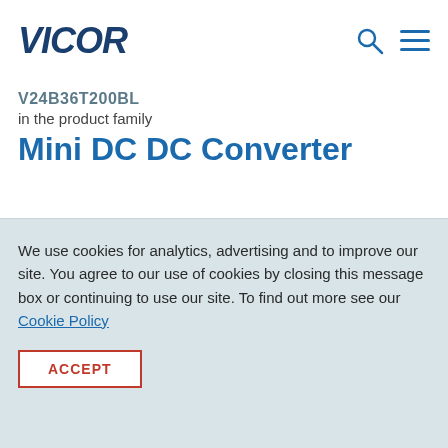VICOR
V24B36T200BL
in the product family
Mini DC DC Converter
We use cookies for analytics, advertising and to improve our site. You agree to our use of cookies by closing this message box or continuing to use our site. To find out more see our Cookie Policy
ACCEPT